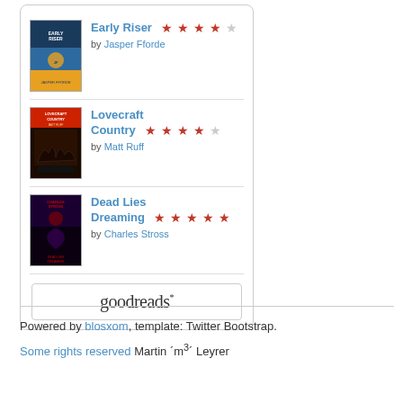[Figure (other): Goodreads widget showing three book entries with covers, titles, authors, and star ratings, plus Goodreads logo button]
Powered by blosxom, template: Twitter Bootstrap.
Some rights reserved Martin ´m³´ Leyrer